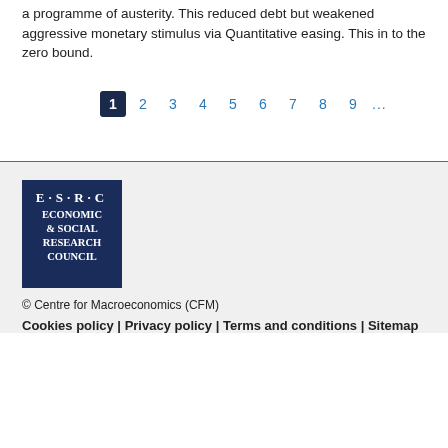a programme of austerity. This reduced debt but weakened aggressive monetary stimulus via Quantitative easing. This in to the zero bound.
1 2 3 4 5 6 7 8 9 ...
[Figure (logo): ESRC Economic & Social Research Council logo — dark navy blue square with white text E·S·R·C and ECONOMIC & SOCIAL RESEARCH COUNCIL]
© Centre for Macroeconomics (CFM)
Cookies policy | Privacy policy | Terms and conditions | Sitemap